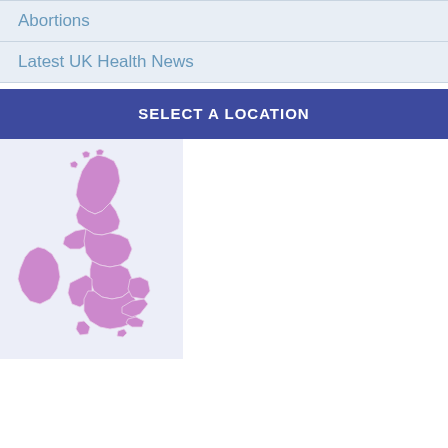Abortions
Latest UK Health News
SELECT A LOCATION
[Figure (map): Interactive map of the United Kingdom and Ireland showing regional divisions, colored in pink/mauve, with white borders between regions. Scotland is in the north, England in the center-right, Wales in the west, and Ireland on the left.]